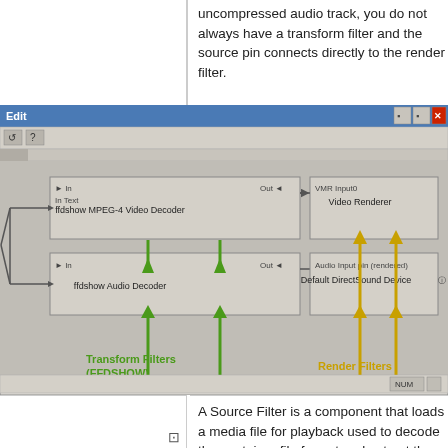uncompressed audio track, you do not always have a transform filter and the source pin connects directly to the render filter.
[Figure (screenshot): GraphEdit/DirectShow filter graph screenshot showing ffdshow MPEG-4 Video Decoder and ffdshow Audio Decoder (Transform Filters / FFDSHOW) connected to Video Renderer and Default DirectSound Device (Render Filters), with green arrows pointing to transform filters and yellow/gold arrows pointing to render filters.]
A Source Filter is a component that loads a media file for playback used to decode the container file format and extract the actual